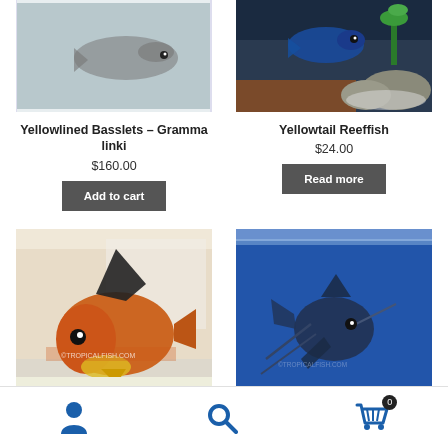[Figure (photo): Yellowlined Basslets fish photo in aquarium tank]
[Figure (photo): Yellowtail Reeffish blue fish in aquarium]
Yellowlined Basslets – Gramma linki
$160.00
Add to cart
Yellowtail Reeffish
$24.00
Read more
[Figure (photo): Orange and black fish with yellow tail in aquarium]
[Figure (photo): Dark fish in blue aquarium water]
User icon | Search icon | Cart (0)